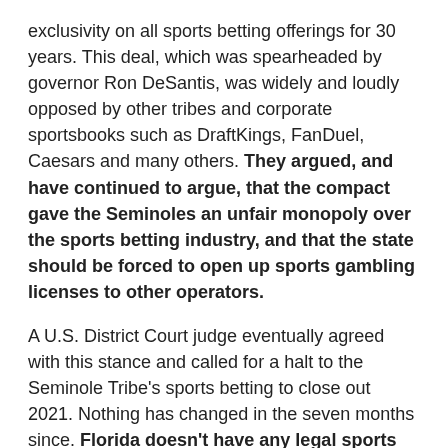exclusivity on all sports betting offerings for 30 years. This deal, which was spearheaded by governor Ron DeSantis, was widely and loudly opposed by other tribes and corporate sportsbooks such as DraftKings, FanDuel, Caesars and many others. They argued, and have continued to argue, that the compact gave the Seminoles an unfair monopoly over the sports betting industry, and that the state should be forced to open up sports gambling licenses to other operators.
A U.S. District Court judge eventually agreed with this stance and called for a halt to the Seminole Tribe's sports betting to close out 2021. Nothing has changed in the seven months since. Florida doesn't have any legal sports betting up and running, a step back that can only be remedied by the legalization of a separate sports betting bill or a renegotiation of